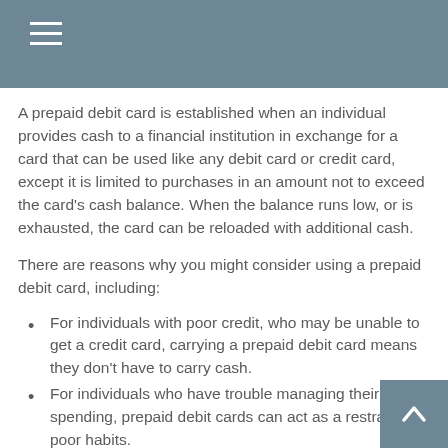A prepaid debit card is established when an individual provides cash to a financial institution in exchange for a card that can be used like any debit card or credit card, except it is limited to purchases in an amount not to exceed the card's cash balance. When the balance runs low, or is exhausted, the card can be reloaded with additional cash.
There are reasons why you might consider using a prepaid debit card, including:
For individuals with poor credit, who may be unable to get a credit card, carrying a prepaid debit card means they don't have to carry cash.
For individuals who have trouble managing their spending, prepaid debit cards can act as a restraint on poor habits.
As an alternative to credit cards for college students, they can help protect parents from their children's